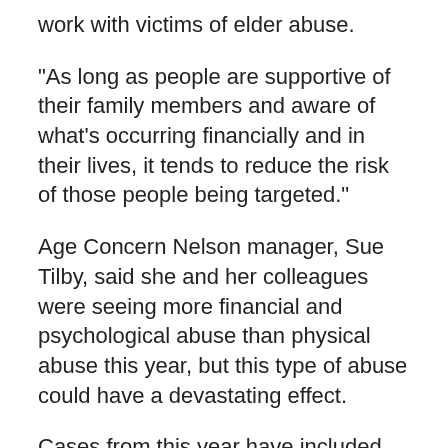work with victims of elder abuse.
"As long as people are supportive of their family members and aware of what's occurring financially and in their lives, it tends to reduce the risk of those people being targeted."
Age Concern Nelson manager, Sue Tilby, said she and her colleagues were seeing more financial and psychological abuse than physical abuse this year, but this type of abuse could have a devastating effect.
Cases from this year have included three separate instances of serious self-neglect, and many examples of misuse of money or property.
Elder abuse and neglect prevention advisor Jess Breeze said one of the reasons elder abuse stayed "hidden" was because 70 to 80 per cent of elder abuse and neglect in New Zealand occurred at the